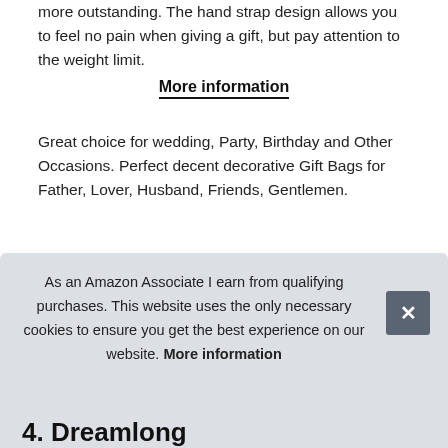more outstanding. The hand strap design allows you to feel no pain when giving a gift, but pay attention to the weight limit.
More information
Great choice for wedding, Party, Birthday and Other Occasions. Perfect decent decorative Gift Bags for Father, Lover, Husband, Friends, Gentlemen.
| Brand | YORKING |
| Part Number | F91905141423241CCY@HCP28!.^(T6&4( |
More information
As an Amazon Associate I earn from qualifying purchases. This website uses the only necessary cookies to ensure you get the best experience on our website. More information
4. Dreamlong